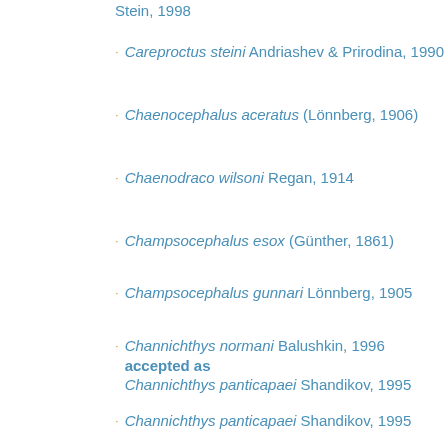Stein, 1998
Careproctus steini Andriashev & Prirodina, 1990
Chaenocephalus aceratus (Lönnberg, 1906)
Chaenodraco wilsoni Regan, 1914
Champsocephalus esox (Günther, 1861)
Champsocephalus gunnari Lönnberg, 1905
Channichthys normani Balushkin, 1996 accepted as Channichthys panticapaei Shandikov, 1995
Channichthys panticapaei Shandikov, 1995
Channichthys rhinoceratus Richardson, 1844
Channichthys rugosus Regan, 1913
Channichthys velifer Meisner, 1974